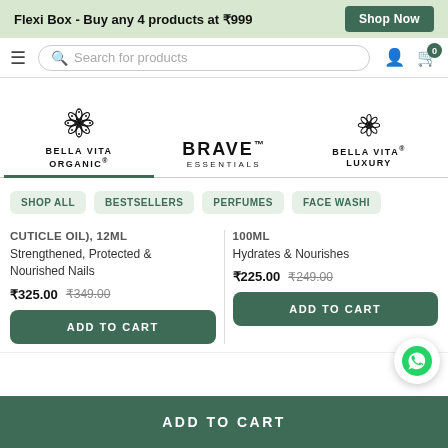Flexi Box - Buy any 4 products at ₹999  Shop Now
Search for products
[Figure (logo): Bella Vita Organic logo with flower icon (active/selected tab)]
[Figure (logo): Brave Essentials logo text]
[Figure (logo): Bella Vita Luxury logo with flower icon]
SHOP ALL
BESTSELLERS
PERFUMES
FACE WASHI
CUTICLE OIL), 12ML
100ML
Strengthened, Protected & Nourished Nails
Hydrates & Nourishes
₹325.00  ₹349.00
₹225.00  ₹249.00
ADD TO CART
ADD TO CART
ADD TO CART